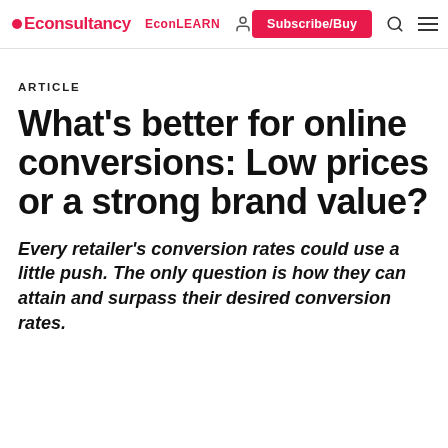Econsultancy | EconLEARN | Subscribe/Buy
ARTICLE
What's better for online conversions: Low prices or a strong brand value?
Every retailer's conversion rates could use a little push. The only question is how they can attain and surpass their desired conversion rates.